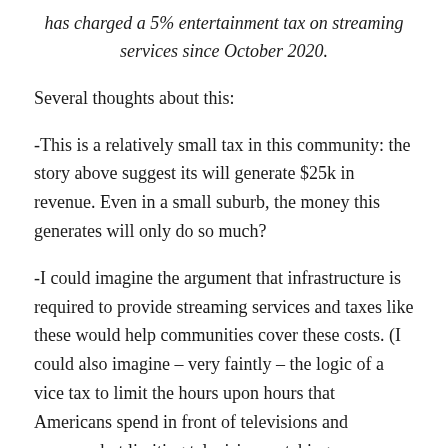has charged a 5% entertainment tax on streaming services since October 2020.
Several thoughts about this:
-This is a relatively small tax in this community: the story above suggest its will generate $25k in revenue. Even in a small suburb, the money this generates will only do so much?
-I could imagine the argument that infrastructure is required to provide streaming services and taxes like these would help communities cover these costs. (I could also imagine – very faintly – the logic of a vice tax to limit the hours upon hours that Americans spend in front of televisions and screens...but limiting television watching via taxation seems somehow un-American.)